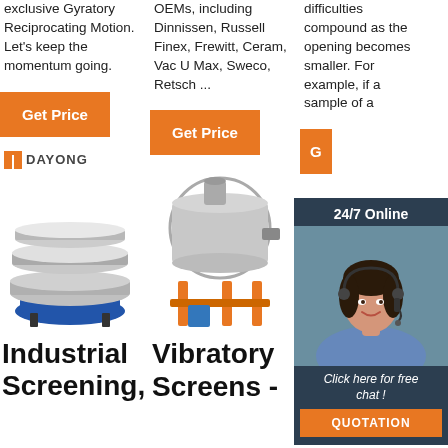exclusive Gyratory Reciprocating Motion. Let's keep the momentum going.
OEMs, including Dinnissen, Russell Finex, Frewitt, Ceram, Vac U Max, Sweco, Retsch ...
difficulties compound as the opening becomes smaller. For example, if a sample of a
Get Price
Get Price
Get Price
[Figure (screenshot): 24/7 Online chat widget with female customer service agent wearing headset, dark blue background, with 'Click here for free chat!' text and orange QUOTATION button]
[Figure (photo): DAYONG brand industrial circular vibrating screen/sieve machine with blue base]
[Figure (photo): Industrial vibratory screening machine on orange stand]
[Figure (photo): Industrial equipment partially obscured by chat widget; TOP navigation button with orange arrow icon]
Industrial Screening,
Vibratory Screens -
No Blocking